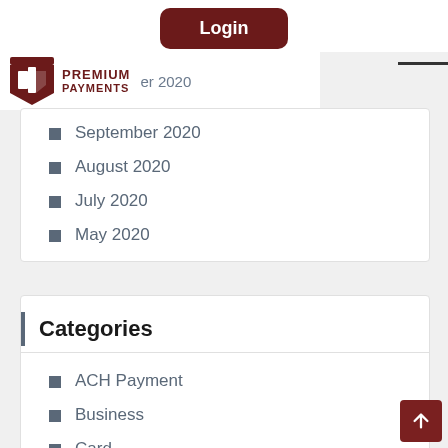Login
[Figure (logo): Premium Payments logo with shield icon]
…er 2020
September 2020
August 2020
July 2020
May 2020
Categories
ACH Payment
Business
Card